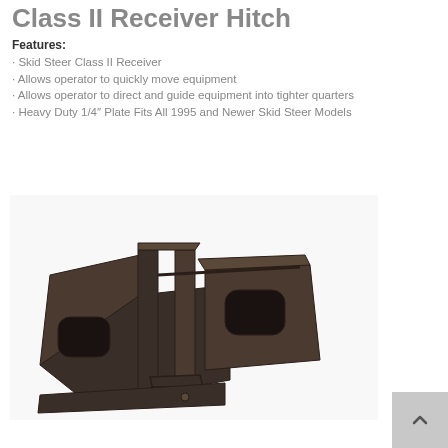Class II Receiver Hitch
Features:
Skid Steer Class II Receiver
Allows operator to quickly move equipment
Allows operator to direct and guide equipment into tighter quarters
Heavy Duty 1/4″ Plate Fits All 1995 and Newer Skid Steer Models
[Figure (photo): Class II Receiver Hitch product photo showing a heavy duty metal hitch plate with two square openings and a receiver tube, mounted on a skid steer attachment plate.]